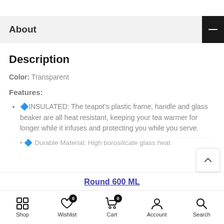About
Description
Color: Transparent
Features:
🔷INSULATED: The teapot's plastic frame, handle and glass beaker are all heat resistant, keeping your tea warmer for longer while it infuses and protecting you while you serve.
🔷 Durable Material: High borosilicate glass heat...
Round 600 ML
Shop   Wishlist   Cart   Account   Search